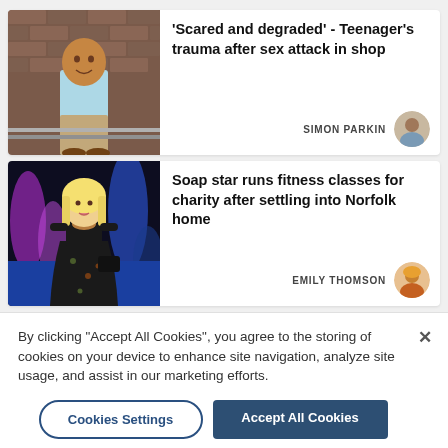[Figure (screenshot): News article card 1: thumbnail photo of a man in blue shirt standing against brick wall, with headline and author]
'Scared and degraded' - Teenager's trauma after sex attack in shop
SIMON PARKIN
[Figure (screenshot): News article card 2: thumbnail photo of a blonde woman in a floral dress at a premier event, with headline and author]
Soap star runs fitness classes for charity after settling into Norfolk home
EMILY THOMSON
By clicking "Accept All Cookies", you agree to the storing of cookies on your device to enhance site navigation, analyze site usage, and assist in our marketing efforts.
Cookies Settings
Accept All Cookies